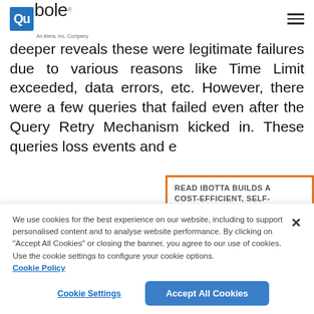Qubole
deeper reveals these were legitimate failures due to various reasons like Time Limit exceeded, data errors, etc. However, there were a few queries that failed even after the Query Retry Mechanism kicked in. These queries loss events and e
READ IBOTTA BUILDS A COST-EFFICIENT, SELF-SERVICE DATA LAKE USING
We use cookies for the best experience on our website, including to support personalised content and to analyse website performance. By clicking on “Accept All Cookies” or closing the banner, you agree to our use of cookies. Use the cookie settings to configure your cookie options.
Cookie Policy
Cookie Settings
Accept All Cookies